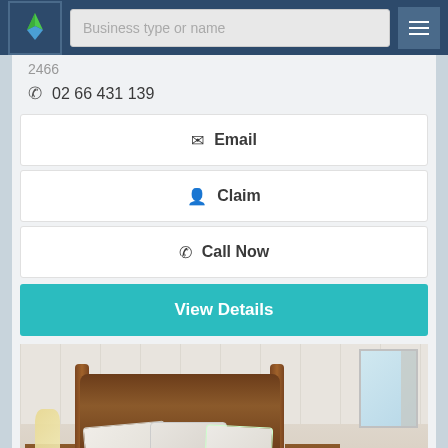[Figure (screenshot): Website header navigation bar with logo, search bar labeled 'Business type or name', and hamburger menu button]
2466
02 66 431 139
Email
Claim
Call Now
View Details
[Figure (photo): Bedroom interior with wooden four-poster bed, white pillows, white bedding, nightstands on both sides, wall paneling in background, and window with curtains]